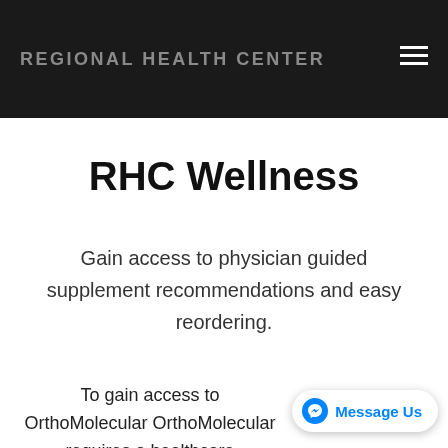REGIONAL HEALTH CENTER
RHC Wellness
Gain access to physician guided supplement recommendations and easy reordering.
To gain access to OrthoMolecular OrthoMolecular requires a healthcare